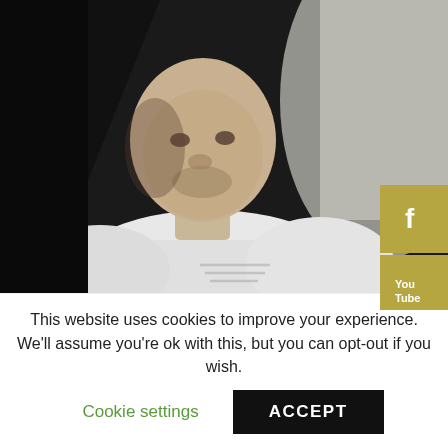[Figure (photo): Black and white photo of Franz Bardon, a heavyset bald man in a white t-shirt, with dark background]
Franz Bardon : A Living Tradition on Spiritual Alchemy Show
This website uses cookies to improve your experience. We'll assume you're ok with this, but you can opt-out if you wish.
Cookie settings  ACCEPT